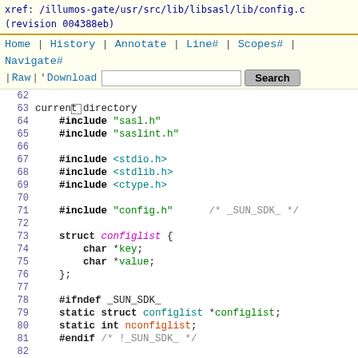xref: /illumos-gate/usr/src/lib/libsasl/lib/config.c
(revision 004388eb)
Home | History | Annotate | Line# | Scopes# | Navigate#
| Raw | Download   [Search]
62
63  current directory
64      #include "sasl.h"
65      #include "saslint.h"
66
67      #include <stdio.h>
68      #include <stdlib.h>
69      #include <ctype.h>
70
71      #include "config.h"        /* _SUN_SDK_ */
72
73      struct configlist {
74          char *key;
75          char *value;
76      };
77
78      #ifndef _SUN_SDK_
79      static struct configlist *configlist;
80      static int nconfiglist;
81      #endif /* !_SUN_SDK_ */
82
83      #define CONFIGLISTGROWSIZE 100
84
85      #ifdef _SUN_SDK_